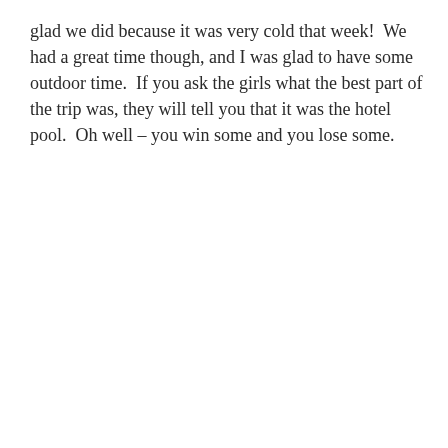glad we did because it was very cold that week!  We had a great time though, and I was glad to have some outdoor time.  If you ask the girls what the best part of the trip was, they will tell you that it was the hotel pool.  Oh well – you win some and you lose some.